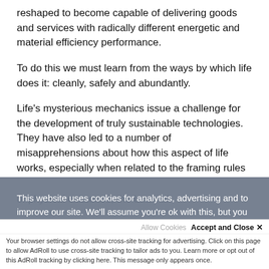reshaped to become capable of delivering goods and services with radically different energetic and material efficiency performance.
To do this we must learn from the ways by which life does it: cleanly, safely and abundantly.
Life's mysterious mechanics issue a challenge for the development of truly sustainable technologies. They have also led to a number of misapprehensions about how this aspect of life works, especially when related to the framing rules of physical existence, the Laws of
This website uses cookies for analytics, advertising and to improve our site. We'll assume you're ok with this, but you
Allow Cookies   Accept and Close ✕
Your browser settings do not allow cross-site tracking for advertising. Click on this page to allow AdRoll to use cross-site tracking to tailor ads to you. Learn more or opt out of this AdRoll tracking by clicking here. This message only appears once.